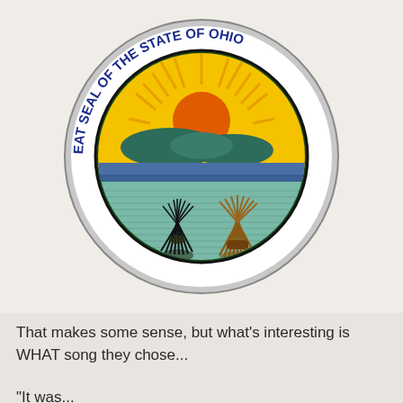[Figure (illustration): The Great Seal of the State of Ohio — a circular seal with blue border text reading 'THE GREAT SEAL OF THE STATE OF OHIO', featuring a rising sun over mountains and fields with two sheaves of wheat/grain in the foreground]
That makes some sense, but what's interesting is WHAT song they chose...
"It was...